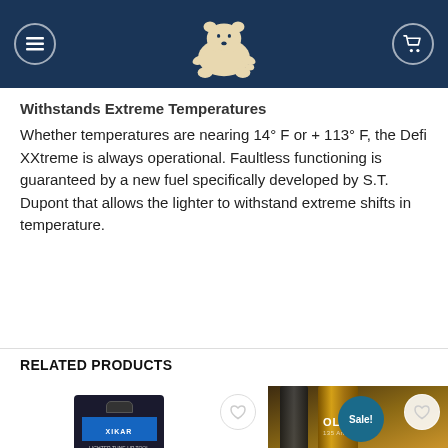Navigation bar with hamburger menu, bear logo, and cart icon
Withstands Extreme Temperatures
Whether temperatures are nearing 14° F or + 113° F, the Defi XXtreme is always operational. Faultless functioning is guaranteed by a new fuel specifically developed by S.T. Dupont that allows the lighter to withstand extreme shifts in temperature.
RELATED PRODUCTS
[Figure (photo): XIKAR lighter tune-up tool product card with wishlist heart button]
[Figure (photo): Oliva 135 Aniversario product card with Sale badge, out of stock overlay, and wishlist heart button]